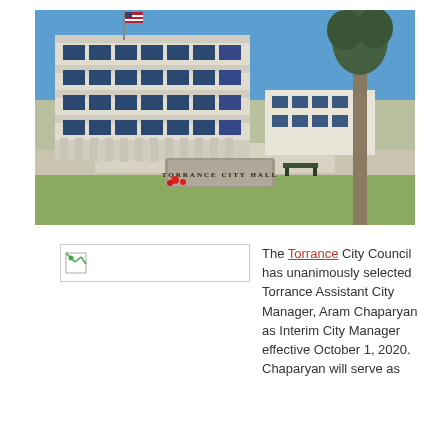[Figure (photo): Exterior photo of Torrance City Hall building with American flag, palm trees, a stone sign reading 'Torrance City Hall', and clear blue sky.]
[Figure (photo): Broken/missing image placeholder icon]
The Torrance City Council has unanimously selected Torrance Assistant City Manager, Aram Chaparyan as Interim City Manager effective October 1, 2020. Chaparyan will serve as